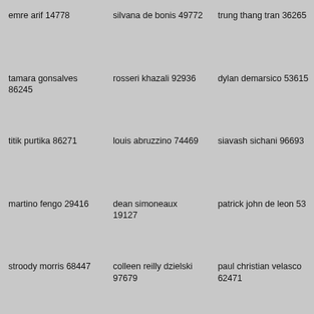emre arif 14778
silvana de bonis 49772
trung thang tran 36265
tamara gonsalves 86245
rosseri khazali 92936
dylan demarsico 53615
titik purtika 86271
louis abruzzino 74469
siavash sichani 96693
martino fengo 29416
dean simoneaux 19127
patrick john de leon 53
stroody morris 68447
colleen reilly dzielski 97679
paul christian velasco 62471